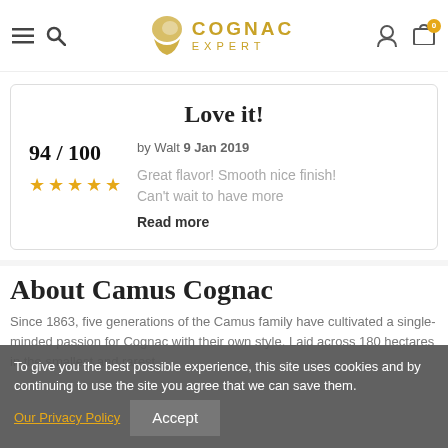[Figure (logo): Cognac Expert website header with logo, hamburger menu, search icon, cognac glass icon, user icon, and cart icon with badge showing 0]
Love it!
94 / 100 by Walt 9 Jan 2019 ★★★★★ Great flavor! Smooth nice finish! Can't wait to have more Read more
About Camus Cognac
Since 1863, five generations of the Camus family have cultivated a single-minded passion for Cognac with their own style. Laid across 180 hectares in the smallest and rarest
To give you the best possible experience, this site uses cookies and by continuing to use the site you agree that we can save them. Our Privacy Policy Accept